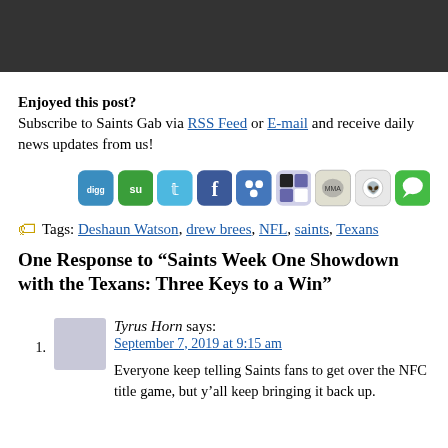[Figure (other): Dark gray/black header banner at top of page]
Enjoyed this post?
Subscribe to Saints Gab via RSS Feed or E-mail and receive daily news updates from us!
[Figure (infographic): Row of social sharing icon buttons: digg, StumbleUpon, Twitter, Facebook, Friendfeed, Delicious, MMA, Reddit, Chat]
Tags: Deshaun Watson, drew brees, NFL, saints, Texans
One Response to “Saints Week One Showdown with the Texans: Three Keys to a Win”
1. Tyrus Horn says:
September 7, 2019 at 9:15 am
Everyone keep telling Saints fans to get over the NFC title game, but y’all keep bringing it back up.